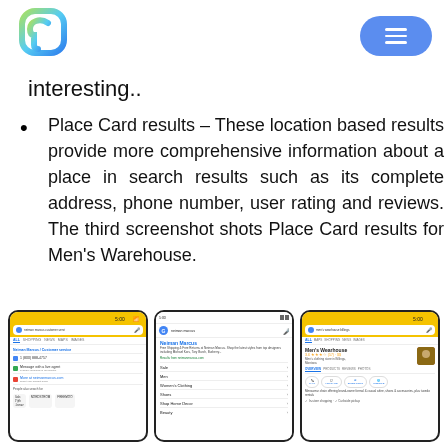[Logo] [Menu button]
interesting..
Place Card results – These location based results provide more comprehensive information about a place in search results such as its complete address, phone number, user rating and reviews. The third screenshot shots Place Card results for Men's Warehouse.
[Figure (screenshot): Three mobile phone screenshots showing Google search results: first shows Neiman Marcus customer service search, second shows Neiman Marcus Place Card result, third shows Men's Warehouse Place Card result in Billings, Montana.]